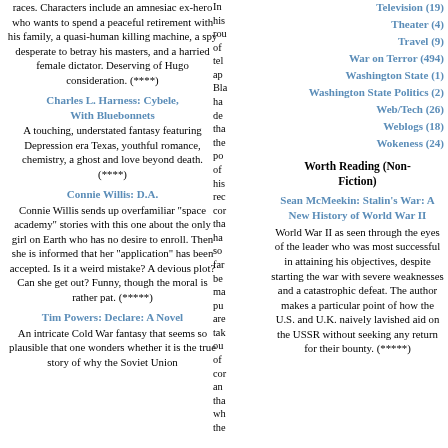races. Characters include an amnesiac ex-hero who wants to spend a peaceful retirement with his family, a quasi-human killing machine, a spy desperate to betray his masters, and a harried female dictator. Deserving of Hugo consideration. (****)
Charles L. Harness: Cybele, With Bluebonnets
A touching, understated fantasy featuring Depression era Texas, youthful romance, chemistry, a ghost and love beyond death. (****)
Connie Willis: D.A.
Connie Willis sends up overfamiliar "space academy" stories with this one about the only girl on Earth who has no desire to enroll. Then she is informed that her "application" has been accepted. Is it a weird mistake? A devious plot? Can she get out? Funny, though the moral is rather pat. (*****)
Tim Powers: Declare: A Novel
An intricate Cold War fantasy that seems so plausible that one wonders whether it is the true story of why the Soviet Union
In his rou of tel ap Bla ha de th the po of his rec co th ha so far be ma pu are tak ou of co an th wh th
Television (19)
Theater (4)
Travel (9)
War on Terror (494)
Washington State (1)
Washington State Politics (2)
Web/Tech (26)
Weblogs (18)
Wokeness (24)
Worth Reading (Non-Fiction)
Sean McMeekin: Stalin’s War: A New History of World War II
World War II as seen through the eyes of the leader who was most successful in attaining his objectives, despite starting the war with severe weaknesses and a catastrophic defeat. The author makes a particular point of how the U.S. and U.K. naively lavished aid on the USSR without seeking any return for their bounty. (*****)